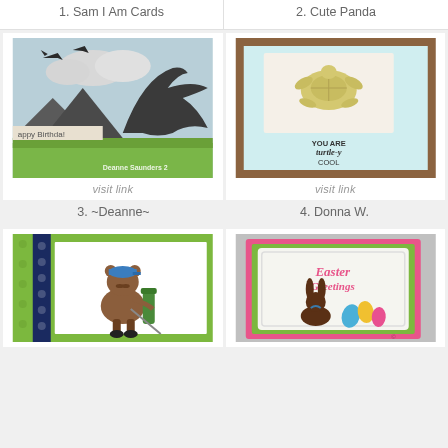1. Sam I Am Cards
2. Cute Panda
[Figure (photo): Handmade birthday card with dinosaur silhouettes, flying pterodactyls, clouds, mountains, and green grass. Text reads 'Happy Birthday'. Watermark: Deanne Saunders 2...]
visit link
[Figure (photo): Handmade card with a sea turtle die-cut on blue textured background, framed in wood. Text reads 'YOU ARE turtle-y COOL']
visit link
3. ~Deanne~
4. Donna W.
[Figure (photo): Handmade card with green and navy polka dot patterned paper border, featuring a bear character holding a golf bag and clubs.]
[Figure (photo): Handmade Easter Greetings card with chocolate bunny, colorful Easter eggs, and decorative border on pink and green background.]